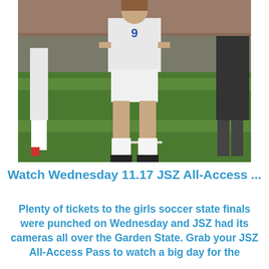[Figure (photo): A female soccer player wearing a white uniform with number 9 and 'SHORE' on the jersey, standing on a green grass field. Another player in white is partially visible on the left, and a player in black is partially visible on the right. Background shows a brick wall.]
Watch Wednesday 11.17 JSZ All-Access ...
Plenty of tickets to the girls soccer state finals were punched on Wednesday and JSZ had its cameras all over the Garden State. Grab your JSZ All-Access Pass to watch a big day for the